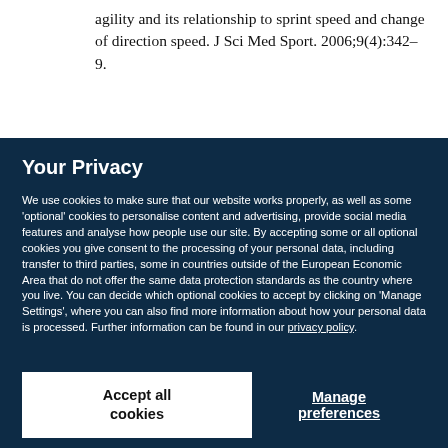agility and its relationship to sprint speed and change of direction speed. J Sci Med Sport. 2006;9(4):342–9.
Your Privacy
We use cookies to make sure that our website works properly, as well as some 'optional' cookies to personalise content and advertising, provide social media features and analyse how people use our site. By accepting some or all optional cookies you give consent to the processing of your personal data, including transfer to third parties, some in countries outside of the European Economic Area that do not offer the same data protection standards as the country where you live. You can decide which optional cookies to accept by clicking on 'Manage Settings', where you can also find more information about how your personal data is processed. Further information can be found in our privacy policy.
Accept all cookies
Manage preferences